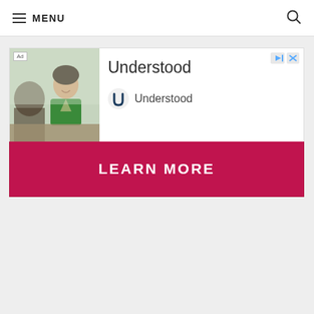≡ MENU
[Figure (screenshot): Advertisement banner for 'Understood' showing a woman in green top sitting at a desk, with 'Ad' label, Understood logo, brand name, and a 'LEARN MORE' call-to-action button in dark red/crimson.]